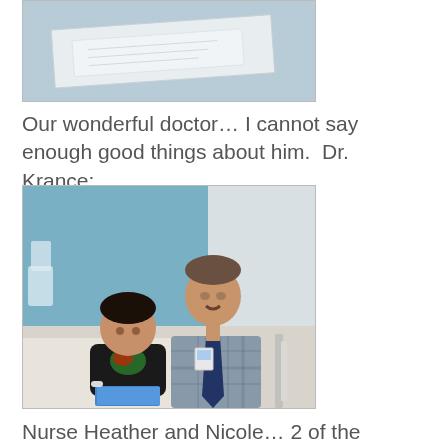[Figure (photo): Photo of a hospital bed or medical surface with papers/documents on it, viewed from above]
Our wonderful doctor… I cannot say enough good things about him.  Dr. Krance:
[Figure (photo): Photo of a young child patient sitting on a hospital bed holding a book, next to an older male doctor in a plaid shirt and tie with an ID badge]
Nurse Heather and Nicole… 2 of the awesome nurses at TCH: